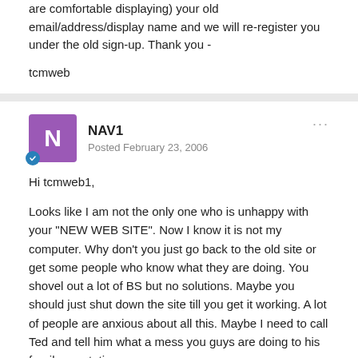are comfortable displaying) your old email/address/display name and we will re-register you under the old sign-up. Thank you -
tcmweb
NAV1
Posted February 23, 2006
Hi tcmweb1,
Looks like I am not the only one who is unhappy with your "NEW WEB SITE". Now I know it is not my computer. Why don't you just go back to the old site or get some people who know what they are doing. You shovel out a lot of BS but no solutions. Maybe you should just shut down the site till you get it working. A lot of people are anxious about all this. Maybe I need to call Ted and tell him what a mess you guys are doing to his fragile reputation.